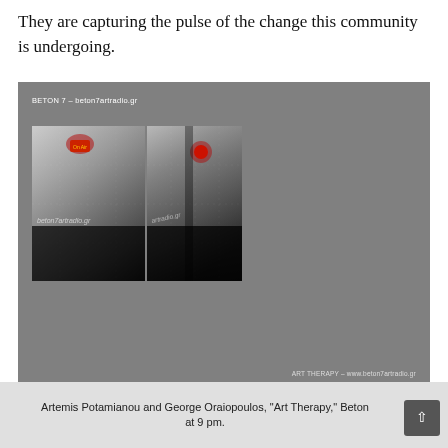They are capturing the pulse of the change this community is undergoing.
[Figure (photo): Two side-by-side photographs of an art installation showing a building facade at night with a red glowing light/device mounted on it, watermarked with beton7artradio.gr. The image block has a gray background and is labeled 'BETON 7 – beton7artradio.gr' at top and 'ART THERAPY – www.beton7artradio.gr' at bottom right.]
Artemis Potamianou and George Oraiopoulos, "Art Therapy," Beton at 9 pm.